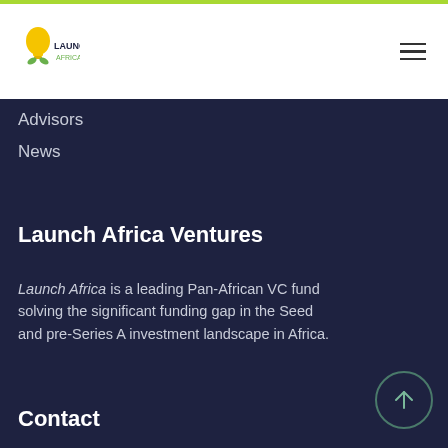[Figure (logo): Launch Africa logo — yellow lightbulb with green leaves and 'LAUNCH AFRICA' text]
Advisors
News
Launch Africa Ventures
Launch Africa is a leading Pan-African VC fund solving the significant funding gap in the Seed and pre-Series A investment landscape in Africa.
Contact